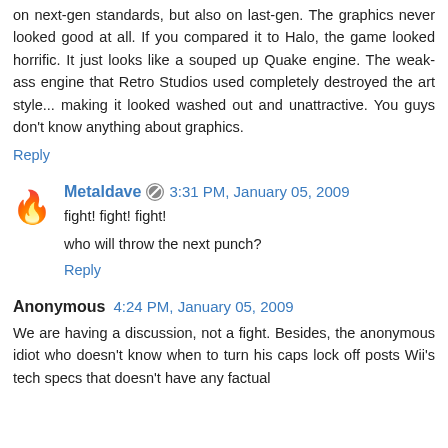on next-gen standards, but also on last-gen. The graphics never looked good at all. If you compared it to Halo, the game looked horrific. It just looks like a souped up Quake engine. The weak-ass engine that Retro Studios used completely destroyed the art style... making it looked washed out and unattractive. You guys don't know anything about graphics.
Reply
Metaldave · 3:31 PM, January 05, 2009
fight! fight! fight!

who will throw the next punch?
Reply
Anonymous 4:24 PM, January 05, 2009
We are having a discussion, not a fight. Besides, the anonymous idiot who doesn't know when to turn his caps lock off posts Wii's tech specs that doesn't have any factual